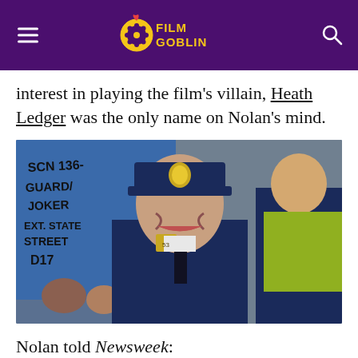FILM GOBLIN
interest in playing the film's villain, Heath Ledger was the only name on Nolan's mind.
[Figure (photo): Heath Ledger in police officer costume on set of The Dark Knight. A clapperboard sign in background reads: SCN 136- GUARD/JOKER EXT. STATE STREET D17. A security guard in hi-vis vest visible in background.]
Nolan told Newsweek: